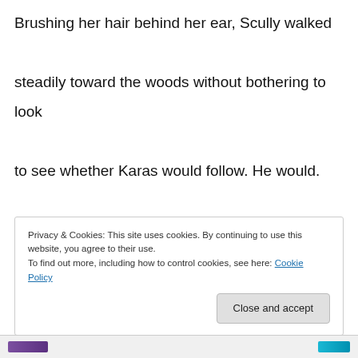Brushing her hair behind her ear, Scully walked steadily toward the woods without bothering to look to see whether Karas would follow. He would.

X X X

Mulder began having sympathy for the idiots in the Blair Witch Project. Tucked somewhere in his memory was a line of dialogue about the impossibility
Privacy & Cookies: This site uses cookies. By continuing to use this website, you agree to their use.
To find out more, including how to control cookies, see here: Cookie Policy
Close and accept